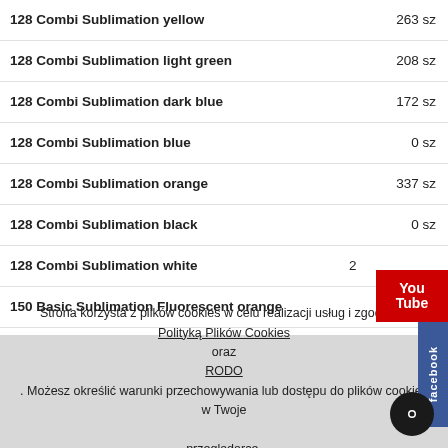128 Combi Sublimation yellow — 263 szt.
128 Combi Sublimation light green — 208 szt.
128 Combi Sublimation dark blue — 172 szt.
128 Combi Sublimation blue — 0 szt.
128 Combi Sublimation orange — 337 szt.
128 Combi Sublimation black — 0 szt.
128 Combi Sublimation white — 2? szt.
150 Basic Sublimation Fluorescent orange — 348 szt.
150 Basic Sublimation Fluorescent pink — 3117 szt.
150 Basic Sublimation Fluorescent yellow — 3206 szt.
150 Basic Sublimation Fluorescent light green — 3723 szt.
190 Latte Sublimation white — 31335 szt.
190 Latte Sublimation black — 0 szt.
190 Latte Sublimation blue — 0 szt.
190 Latte Sublimation red — 0 szt.
Strona korzysta z plików cookies w celu realizacji usług i zgodnie z Polityką Plików Cookies oraz RODO. Możesz określić warunki przechowywania lub dostępu do plików cookies w Twojej przeglądarce. Zamknij